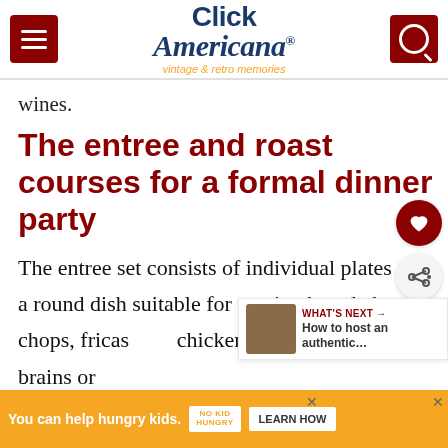Click Americana — vintage & retro memories
wines.
The entree and roast courses for a formal dinner party
The entree set consists of individual plates and a round dish suitable for serving breaded chops, fricas... chicken, sweetbreads, calves' brains or w...
[Figure (other): What's Next promotional box: thumbnail image with text 'WHAT'S NEXT → How to host an authentic...']
[Figure (other): Advertisement banner: 'You can help hungry kids. NO KID HUNGRY. LEARN HOW']